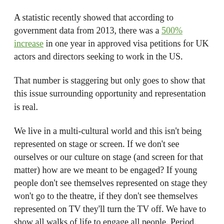A statistic recently showed that according to government data from 2013, there was a 500% increase in one year in approved visa petitions for UK actors and directors seeking to work in the US.
That number is staggering but only goes to show that this issue surrounding opportunity and representation is real.
We live in a multi-cultural world and this isn't being represented on stage or screen. If we don't see ourselves or our culture on stage (and screen for that matter) how are we meant to be engaged? If young people don't see themselves represented on stage they won't go to the theatre, if they don't see themselves represented on TV they'll turn the TV off. We have to show all walks of life to engage all people. Period.
That same situation is at risk of running its course here in Wales. If we don't champion opportunity and give